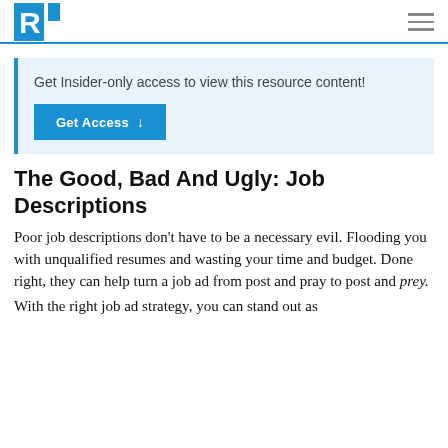R [logo] | hamburger menu
Get Insider-only access to view this resource content!
Get Access ↓
The Good, Bad And Ugly: Job Descriptions
Poor job descriptions don't have to be a necessary evil. Flooding you with unqualified resumes and wasting your time and budget. Done right, they can help turn a job ad from post and pray to post and prey.
With the right job ad strategy, you can stand out as